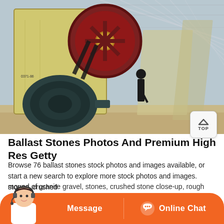[Figure (photo): Industrial jaw crusher machine with large red flywheel/pulley, green motor unit, and a worker in background, inside a facility with steel roof structure. Conveyor belts and crushed stone visible.]
Ballast Stones Photos And Premium High Res Getty
Browse 76 ballast stones stock photos and images available, or start a new search to explore more stock photos and images. mound of granite gravel, stones, crushed stone close-up, rough seamless stones, crushed
[Figure (screenshot): Orange chat bar at bottom with headset avatar on left, Message button in center, and Online Chat button on right with chat icon.]